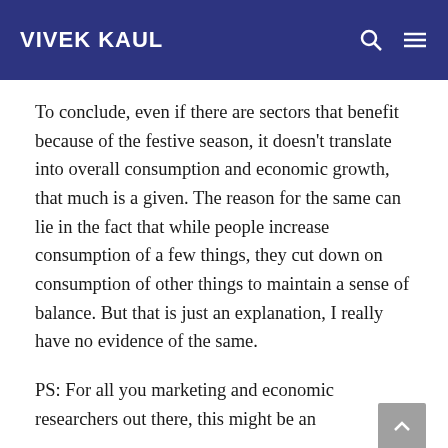VIVEK KAUL
To conclude, even if there are sectors that benefit because of the festive season, it doesn't translate into overall consumption and economic growth, that much is a given. The reason for the same can lie in the fact that while people increase consumption of a few things, they cut down on consumption of other things to maintain a sense of balance. But that is just an explanation, I really have no evidence of the same.
PS: For all you marketing and economic researchers out there, this might be an